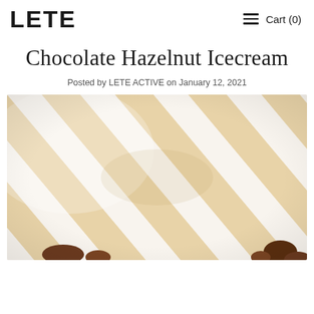LETE  Cart (0)
Chocolate Hazelnut Icecream
Posted by LETE ACTIVE on January 12, 2021
[Figure (photo): Close-up photo of cream and white diagonal striped fabric/textile with some brown elements visible at the bottom edge, warm golden-cream tones]